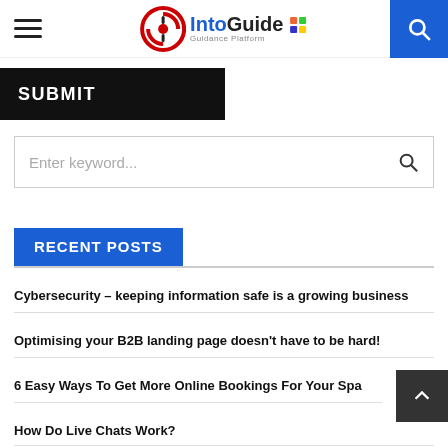IntoGuide – Guidance Platform
SUBMIT
Enter keyword...
RECENT POSTS
Cybersecurity – keeping information safe is a growing business
Optimising your B2B landing page doesn't have to be hard!
6 Easy Ways To Get More Online Bookings For Your Spa
How Do Live Chats Work?